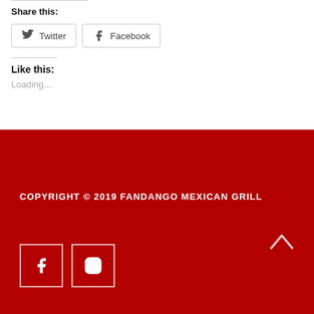Share this:
Twitter  Facebook
Like this:
Loading...
Copyright © 2019 FANDANGO MEXICAN GRILL